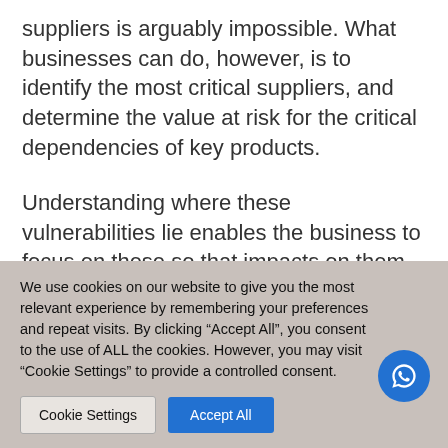suppliers is arguably impossible. What businesses can do, however, is to identify the most critical suppliers, and determine the value at risk for the critical dependencies of key products.
Understanding where these vulnerabilities lie enables the business to focus on these so that impacts on them are identified and responded to more quickly. Quantifying the value at risk...
We use cookies on our website to give you the most relevant experience by remembering your preferences and repeat visits. By clicking "Accept All", you consent to the use of ALL the cookies. However, you may visit "Cookie Settings" to provide a controlled consent.